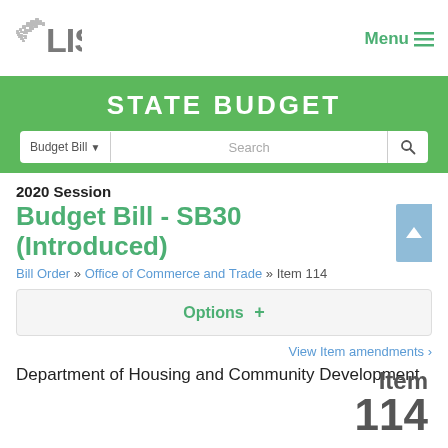[Figure (logo): LIS Virginia state logo with Virginia outline graphic and LIS text]
Menu ☰
STATE BUDGET
Budget Bill ▾   Search
2020 Session
Budget Bill - SB30 (Introduced)
Bill Order » Office of Commerce and Trade » Item 114
Options +
View Item amendments ›
Department of Housing and Community Development
Item 114